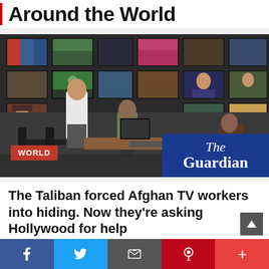Around the World
[Figure (photo): A TV broadcast control room with multiple screens on a wall showing various news channels. Several workers are seated and standing at desks with computers. Lower left has a red badge reading WORLD. Lower right shows The Guardian logo on a blue background.]
The Taliban forced Afghan TV workers into hiding. Now they're asking Hollywood for help
Feb 14, 2022
Social share bar: Facebook, Twitter, Mail, Pinterest, More